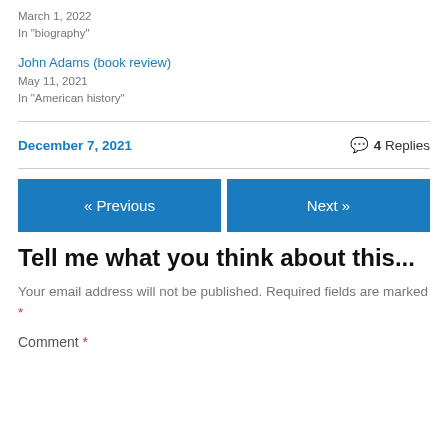March 1, 2022
In "biography"
John Adams (book review)
May 11, 2021
In "American history"
December 7, 2021    4 Replies
« Previous    Next »
Tell me what you think about this...
Your email address will not be published. Required fields are marked *
Comment *